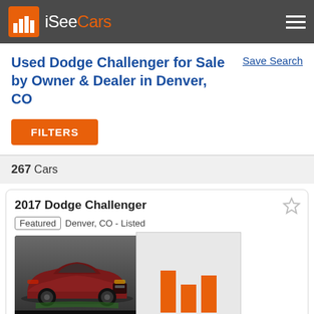iSeeCars
Used Dodge Challenger for Sale by Owner & Dealer in Denver, CO
Save Search
FILTERS
267 Cars
2017 Dodge Challenger
Featured  Denver, CO - Listed
[Figure (illustration): Photo of a dark red 2017 Dodge Challenger with VIEW ON DEALER SITE overlay]
[Figure (bar-chart): iSeeCars bar chart logo overlay with three orange bars of varying heights]
$511 Above Market
$60,711
23,193 mi
dealer rating
2021 Dodge Challenger R/T Scat Pack